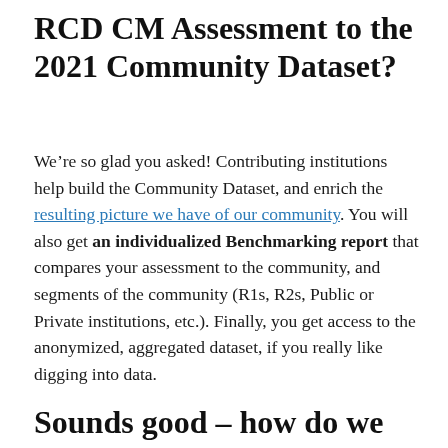RCD CM Assessment to the 2021 Community Dataset?
We’re so glad you asked! Contributing institutions help build the Community Dataset, and enrich the resulting picture we have of our community. You will also get an individualized Benchmarking report that compares your assessment to the community, and segments of the community (R1s, R2s, Public or Private institutions, etc.). Finally, you get access to the anonymized, aggregated dataset, if you really like digging into data.
Sounds good – how do we get our